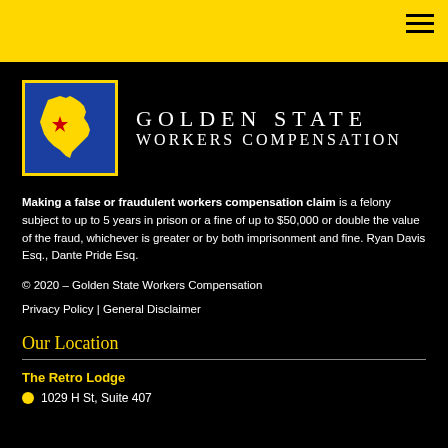Golden State Workers Compensation - navigation header with hamburger menu
[Figure (logo): Golden State Workers Compensation logo: blue square with yellow California state outline and red star, beside company name in white serif text]
Making a false or fraudulent workers compensation claim is a felony subject to up to 5 years in prison or a fine of up to $50,000 or double the value of the fraud, whichever is greater or by both imprisonment and fine. Ryan Davis Esq., Dante Pride Esq.
© 2020 – Golden State Workers Compensation
Privacy Policy | General Disclaimer
Our Location
The Retro Lodge
1029 H St, Suite 407